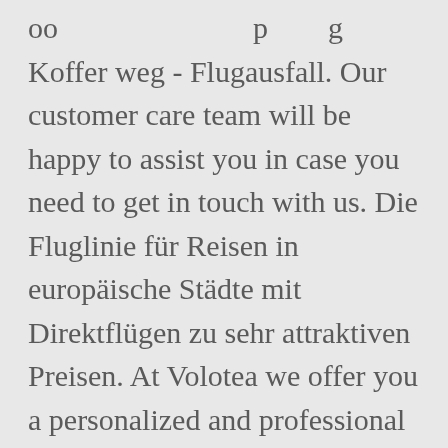oo                              p        g Koffer weg - Flugausfall. Our customer care team will be happy to assist you in case you need to get in touch with us. Die Fluglinie für Reisen in europäische Städte mit Direktflügen zu sehr attraktiven Preisen. At Volotea we offer you a personalized and professional attention for group bookings from 10 passengers up, ... For further information please feel free to contact us via e-mail at groups@volotea.com. Rail & Fly Ticket und erkundigen Sie sich über die Freigepäckgrenzen der Volotea - der IATA Code der Fluggesellschaft (die Flugnummer) - ist V7.Ist die Volotea telefonisch nicht erreichbar, nutzen Sie den online Kontakt / e